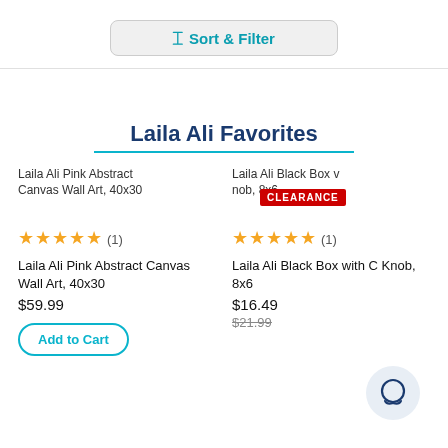Sort & Filter
Laila Ali Favorites
[Figure (screenshot): Product image for Laila Ali Pink Abstract Canvas Wall Art, 40x30]
★★★★★ (1)
Laila Ali Pink Abstract Canvas Wall Art, 40x30
$59.99
Add to Cart
[Figure (screenshot): Product image for Laila Ali Black Box with C Knob, 8x6 with CLEARANCE badge]
★★★★★ (1)
Laila Ali Black Box with C Knob, 8x6
$16.49
$21.99